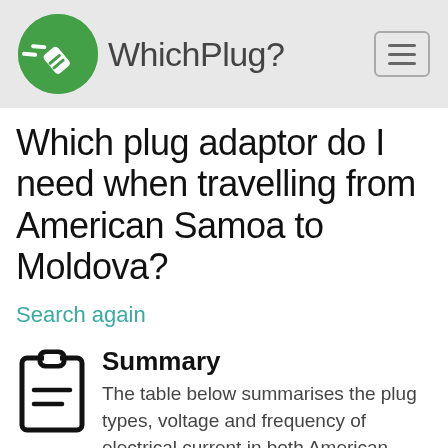WhichPlug?
Which plug adaptor do I need when travelling from American Samoa to Moldova?
Search again
Summary
The table below summarises the plug types, voltage and frequency of electrical current in both American Samoa and Moldova.